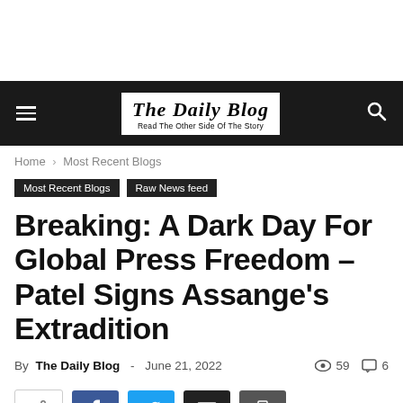The Daily Blog — Read The Other Side Of The Story
Home › Most Recent Blogs
Most Recent Blogs
Raw News feed
Breaking: A Dark Day For Global Press Freedom – Patel Signs Assange's Extradition
By The Daily Blog - June 21, 2022  59 views  6 comments